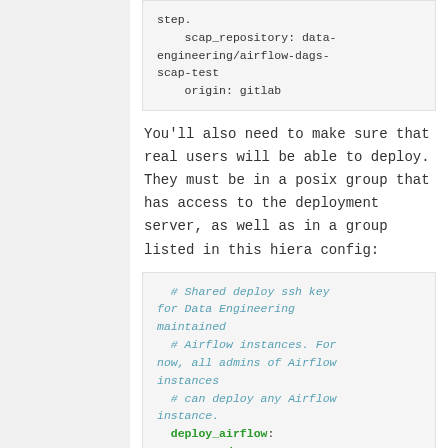step.
    scap_repository: data-engineering/airflow-dags-scap-test
    origin: gitlab
You'll also need to make sure that real users will be able to deploy. They must be in a posix group that has access to the deployment server, as well as in a group listed in this hiera config:
# Shared deploy ssh key for Data Engineering maintained
    # Airflow instances. For now, all admins of Airflow instances
    # can deploy any Airflow instance.
    deploy_airflow:
      trusted_groups: